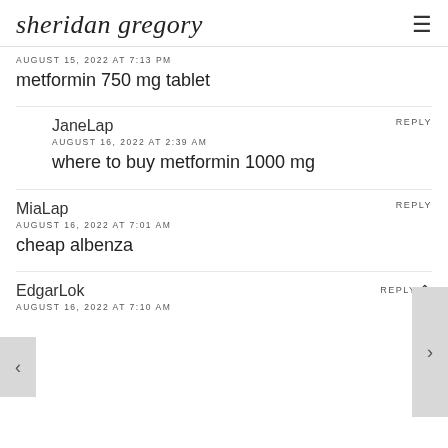sheridan gregory
AUGUST 15, 2022 AT 7:13 PM
metformin 750 mg tablet
JaneLap
AUGUST 16, 2022 AT 2:39 AM
REPLY
where to buy metformin 1000 mg
MiaLap
AUGUST 16, 2022 AT 7:01 AM
REPLY
cheap albenza
EdgarLok
AUGUST 16, 2022 AT 7:10 AM
REPLY